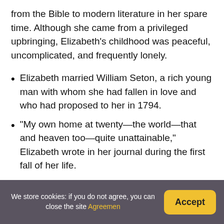from the Bible to modern literature in her spare time. Although she came from a privileged upbringing, Elizabeth's childhood was peaceful, uncomplicated, and frequently lonely.
Elizabeth married William Seton, a rich young man with whom she had fallen in love and who had proposed to her in 1794.
“My own home at twenty—the world—that and heaven too—quite unattainable,” Elizabeth wrote in her journal during the first fall of her life.
The young couple was left in charge of William’s seven half-brothers and sisters, as well as the
We store cookies: if you do not agree, you can close the site Agreemen